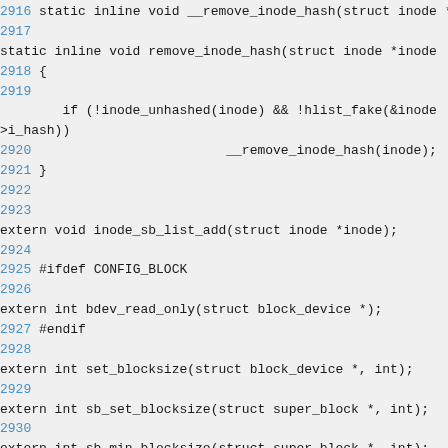static inline void __remove_inode_hash(struct inode *);
2917
static inline void remove_inode_hash(struct inode *inode
2918 {
2919
        if (!inode_unhashed(inode) && !hlist_fake(&inode->i_hash))
2920                        __remove_inode_hash(inode);
2921 }
2922
2923
extern void inode_sb_list_add(struct inode *inode);
2924
2925 #ifdef CONFIG_BLOCK
2926
extern int bdev_read_only(struct block_device *);
2927 #endif
2928
extern int set_blocksize(struct block_device *, int);
2929
extern int sb_set_blocksize(struct super_block *, int);
2930
extern int sb_min_blocksize(struct super_block *, int);
2931
2932